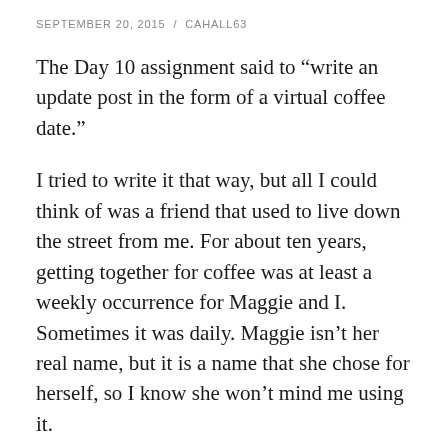SEPTEMBER 20, 2015 / CAHALL63
The Day 10 assignment said to “write an update post in the form of a virtual coffee date.”
I tried to write it that way, but all I could think of was a friend that used to live down the street from me. For about ten years, getting together for coffee was at least a weekly occurrence for Maggie and I. Sometimes it was daily. Maggie isn’t her real name, but it is a name that she chose for herself, so I know she won’t mind me using it.
Maggie and I knew each other in high school, but we weren’t friends. It still amazes me how